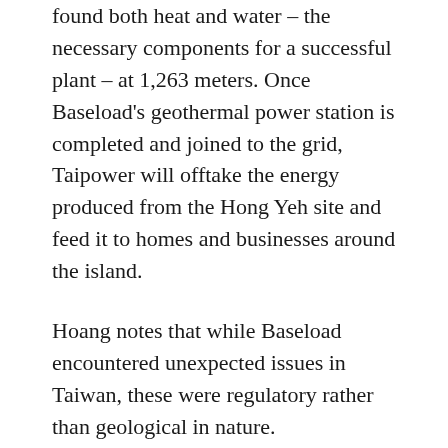found both heat and water – the necessary components for a successful plant – at 1,263 meters. Once Baseload's geothermal power station is completed and joined to the grid, Taipower will offtake the energy produced from the Hong Yeh site and feed it to homes and businesses around the island.
Hoang notes that while Baseload encountered unexpected issues in Taiwan, these were regulatory rather than geological in nature.
“People talk about soil acidity or other geological uncertainties,” he says. “Well, different technical challenges exist in every country for geothermal, and we are prepared to overcome them. What we are